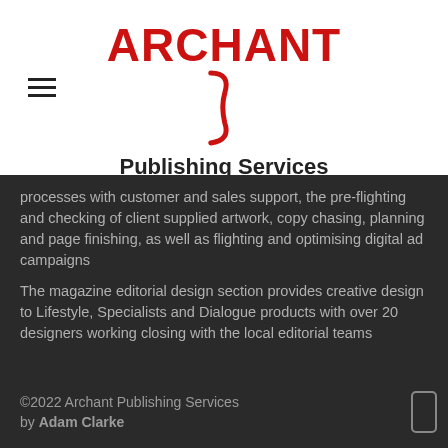[Figure (logo): Archant Publishing Services logo with red text ARCHANT and a curly brace, and subtitle Publishing Services in black]
processes with customer and sales support, the pre-flighting and checking of client supplied artwork, copy chasing, planning and page finishing, as well as flighting and optimising digital ad campaigns
The magazine editorial design section provides creative design to Lifestyle, Specialists and Dialogue products with over 20 designers working closing with the local editorial teams
©2022 Archant Publishing Services
by Adam Clarke